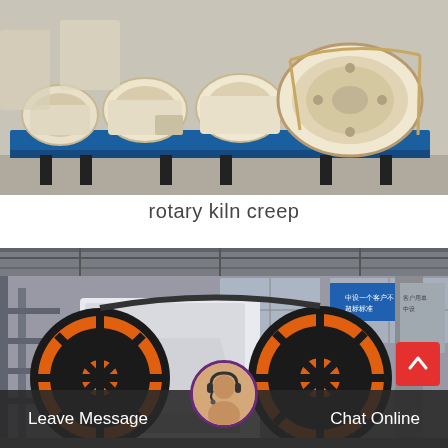[Figure (photo): Row of industrial rotary kiln or crusher machines in beige/cream color with blue bases, lined up in a warehouse or factory yard. Multiple units visible side by side on blue platforms.]
rotary kiln creep
[Figure (photo): Large jaw crusher machine in a factory/workshop setting. Machine has prominent orange and black flywheels/wheels. Industrial building with columns visible in background, Chinese text signage on blue banner.]
Leave Message
Chat Online